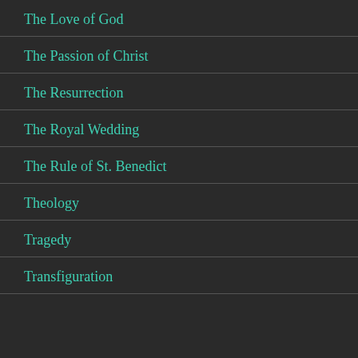The Love of God
The Passion of Christ
The Resurrection
The Royal Wedding
The Rule of St. Benedict
Theology
Tragedy
Transfiguration